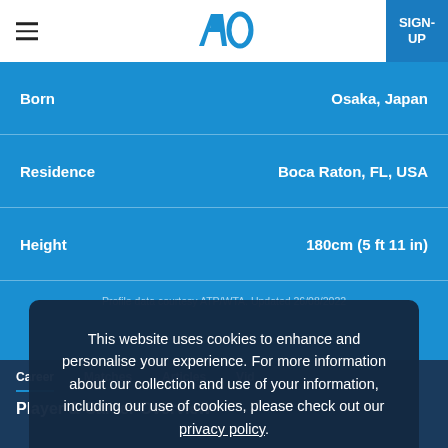AO — Australian Open — SIGN-UP
| Field | Value |
| --- | --- |
| Born | Osaka, Japan |
| Residence | Boca Raton, FL, USA |
| Height | 180cm (5 ft 11 in) |
Profile data courtesy ATP/WTA. Updated 26/08/2022
Career   Matches   Articles   Vid…
Player & Career Overview
This website uses cookies to enhance and personalise your experience. For more information about our collection and use of your information, including our use of cookies, please check out our privacy policy.
Continue